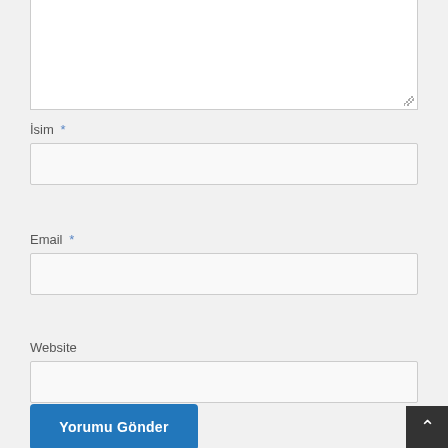[Figure (screenshot): Textarea input box (comment form field), partially visible at top of page with resize handle at bottom-right corner]
İsim *
[Figure (screenshot): Text input field for İsim (Name), rectangular with border]
Email *
[Figure (screenshot): Text input field for Email, rectangular with border]
Website
[Figure (screenshot): Text input field for Website, rectangular with border]
Yorumu Gönder